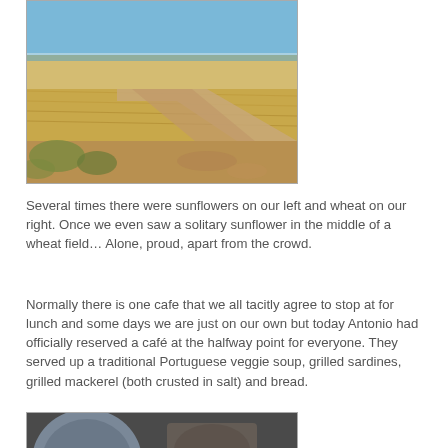[Figure (photo): A dirt path running between golden wheat fields under a blue sky with hazy horizon.]
Several times there were sunflowers on our left and wheat on our right. Once we even saw a solitary sunflower in the middle of a wheat field… Alone, proud, apart from the crowd.
Normally there is one cafe that we all tacitly agree to stop at for lunch and some days we are just on our own but today Antonio had officially reserved a café at the halfway point for everyone. They served up a traditional Portuguese veggie soup, grilled sardines, grilled mackerel (both crusted in salt) and bread.
[Figure (photo): A table with plates, bowls, and a tray of sardines or mackerel at a cafe.]